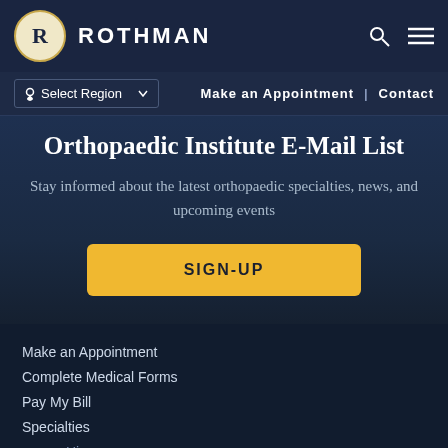ROTHMAN
Orthopaedic Institute E-Mail List
Stay informed about the latest orthopaedic specialties, news, and upcoming events
SIGN-UP
Make an Appointment
Complete Medical Forms
Pay My Bill
Specialties
Hip
Knee
Spine